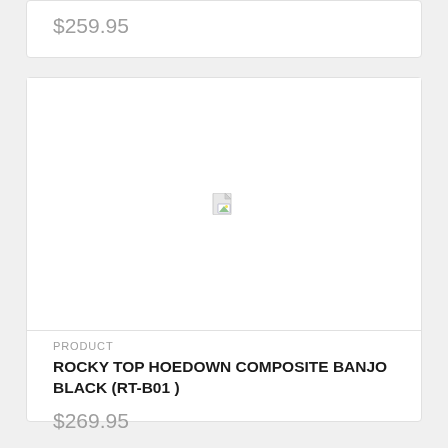$259.95
[Figure (photo): Product image placeholder with broken image icon]
PRODUCT
ROCKY TOP HOEDOWN COMPOSITE BANJO BLACK (RT-B01 )
$269.95